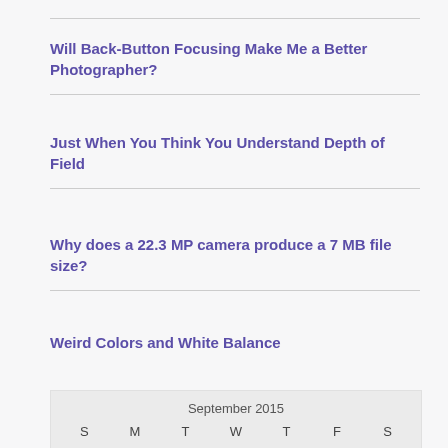Will Back-Button Focusing Make Me a Better Photographer?
Just When You Think You Understand Depth of Field
Why does a 22.3 MP camera produce a 7 MB file size?
Weird Colors and White Balance
| S | M | T | W | T | F | S |
| --- | --- | --- | --- | --- | --- | --- |